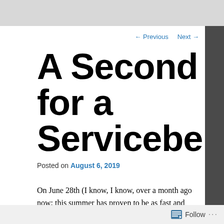← Previous   Next →
A Second for a Serviceberry
Posted on August 6, 2019
On June 28th (I know, I know, over a month ago now; this summer has proven to be as fast and furious as the rest of the last year ), I received an e-mail from my brother Gregg of Sudbury, MA. I
Follow